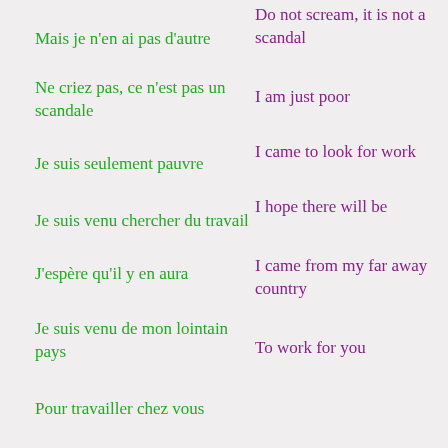Mais je n’en ai pas d’autre
Do not scream, it is not a scandal
Ne criez pas, ce n’est pas un scandale
I am just poor
I came to look for work
Je suis seulement pauvre
I hope there will be
Je suis venu chercher du travail
I came from my far away country
J’espère qu’il y en aura
To work for you
Je suis venu de mon lointain pays
Pour travailler chez vous